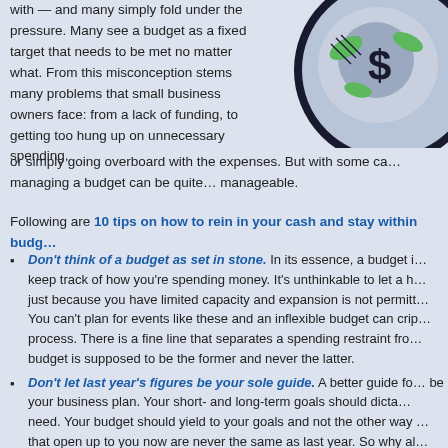with — and many simply fold under the pressure. Many see a budget as a fixed target that needs to be met no matter what. From this misconception stems many problems that small business owners face: from a lack of funding, to getting too hung up on unnecessary spending, or simply going overboard with the expenses. But with some ca… managing a budget can be quite… manageable.
[Figure (illustration): Circular illustration showing a money/dollar sign graphic with stylized green and purple colors]
Following are 10 tips on how to rein in your cash and stay within budg…
Don't think of a budget as set in stone. In its essence, a budget i… keep track of how you're spending money. It's unthinkable to let a h… just because you have limited capacity and expansion is not permitt… You can't plan for events like these and an inflexible budget can crip… process. There is a fine line that separates a spending restraint fro… budget is supposed to be the former and never the latter.
Don't let last year's figures be your sole guide. A better guide fo… be your business plan. Your short- and long-term goals should dicta… need. Your budget should yield to your goals and not the other way … that open up to you now are never the same as last year. So why al… expenses?
Be transparent, especially with budget cuts. Nothing says emp…